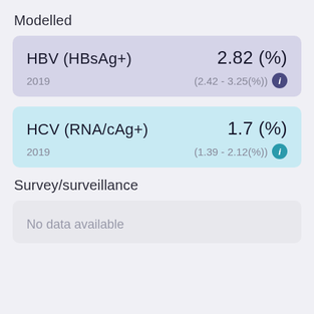Modelled
HBV (HBsAg+)   2.82 (%)   2019   (2.42 - 3.25(%))
HCV (RNA/cAg+)   1.7 (%)   2019   (1.39 - 2.12(%))
Survey/surveillance
No data available